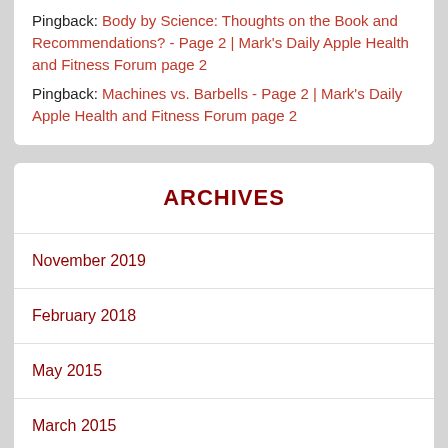Pingback: Body by Science: Thoughts on the Book and Recommendations? - Page 2 | Mark's Daily Apple Health and Fitness Forum page 2
Pingback: Machines vs. Barbells - Page 2 | Mark's Daily Apple Health and Fitness Forum page 2
ARCHIVES
November 2019
February 2018
May 2015
March 2015
January 2015